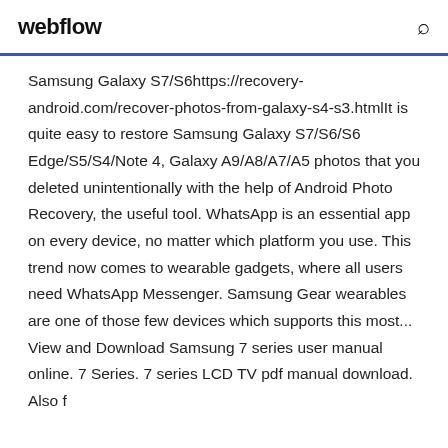webflow
Samsung Galaxy S7/S6https://recovery-android.com/recover-photos-from-galaxy-s4-s3.htmlIt is quite easy to restore Samsung Galaxy S7/S6/S6 Edge/S5/S4/Note 4, Galaxy A9/A8/A7/A5 photos that you deleted unintentionally with the help of Android Photo Recovery, the useful tool. WhatsApp is an essential app on every device, no matter which platform you use. This trend now comes to wearable gadgets, where all users need WhatsApp Messenger. Samsung Gear wearables are one of those few devices which supports this most... View and Download Samsung 7 series user manual online. 7 Series. 7 series LCD TV pdf manual download. Also f